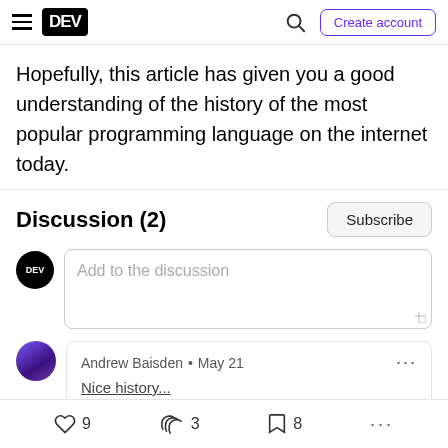DEV | Search | Create account
Hopefully, this article has given you a good understanding of the history of the most popular programming language on the internet today.
Discussion (2)
Subscribe
Add to the discussion
Andrew Baisden • May 21
9  3  8  ...